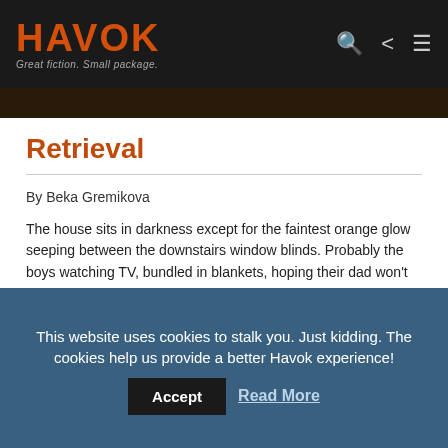HAVOK — Great fiction. Small package.
Retrieval
By Beka Gremikova
The house sits in darkness except for the faintest orange glow seeping between the downstairs window blinds. Probably the boys watching TV, bundled in blankets, hoping their dad won't come home tonight. You have no right to those kids. By human law, they belong to Earth. So says the human government.
This website uses cookies to stalk you. Just kidding. The cookies help us provide a better Havok experience! Accept Read More